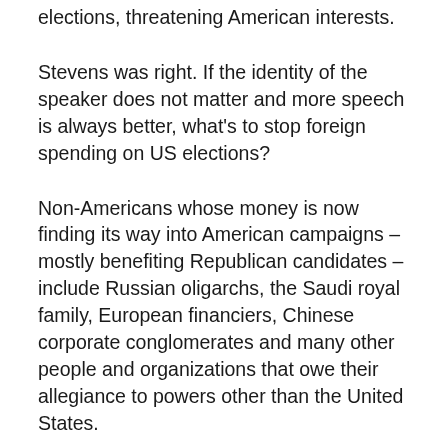elections, threatening American interests.
Stevens was right. If the identity of the speaker does not matter and more speech is always better, what's to stop foreign spending on US elections?
Non-Americans whose money is now finding its way into American campaigns – mostly benefiting Republican candidates – include Russian oligarchs, the Saudi royal family, European financiers, Chinese corporate conglomerates and many other people and organizations that owe their allegiance to powers other than the United States.
The growing problem centers on three conditions.